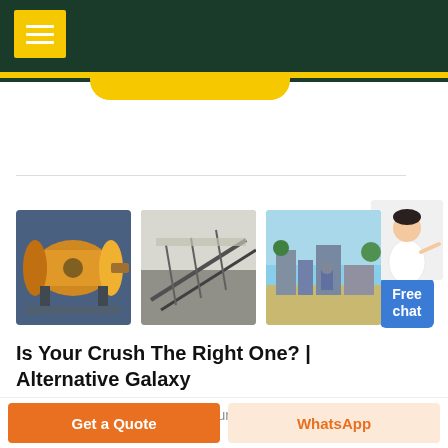Navigation header with menu button
[Figure (photo): Three industrial machinery photos: a ball mill (orange/yellow), a conveyor belt system, and a mining/crushing plant]
Is Your Crush The Right One? | Alternative Galaxy
Take this love Quiz and find if Your Crush The
Get a Quote
WhatsApp